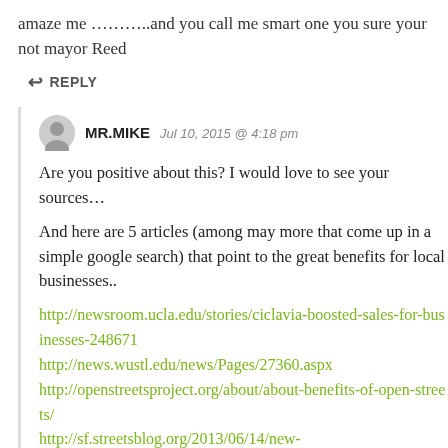amaze me ………..and you call me smart one you sure your not mayor Reed
↩ REPLY
MR.MIKE   Jul 10, 2015 @ 4:18 pm
Are you positive about this? I would love to see your sources…
And here are 5 articles (among may more that come up in a simple google search) that point to the great benefits for local businesses..
http://newsroom.ucla.edu/stories/ciclavia-boosted-sales-for-businesses-248671
http://news.wustl.edu/news/Pages/27360.aspx
http://openstreetsproject.org/about/about-benefits-of-open-streets/
http://sf.streetsblog.org/2013/06/14/new-stats-on-the-health-and-business...